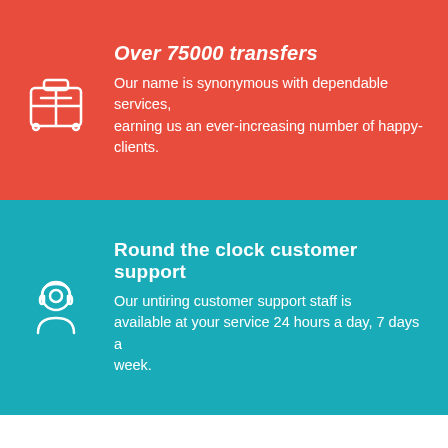Over 75000 transfers
Our name is synonymous with dependable services, earning us an ever-increasing number of happy-clients.
Round the clock customer support
Our untiring customer support staff is available at your service 24 hours a day, 7 days a week.
PRIVATE AIRPORT TRANSFER FROM DELHI TO MANDAWA